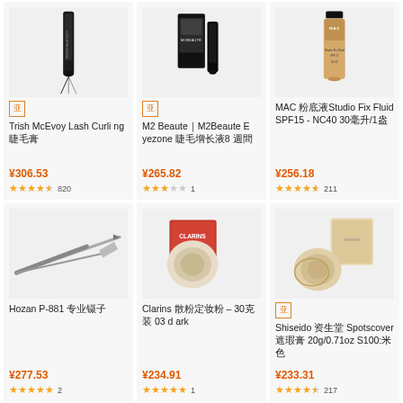[Figure (photo): Trish McEvoy Lash Curling mascara product image]
Trish McEvoy Lash Curling 睫毛膏
¥306.53
★★★★☆ 820
[Figure (photo): M2 Beaute M2Beaute Eyezone product image]
M2 Beaute｜M2Beaute Eyezone 睫毛增长液8 週間
¥265.82
★★★☆☆ 1
[Figure (photo): MAC Studio Fix Fluid SPF15 foundation product image]
MAC 粉底液Studio Fix Fluid SPF15 - NC40 30毫升/1盎
¥256.18
★★★★☆ 211
[Figure (photo): Hozan P-881 tweezers product image]
Hozan P-881 专业镊子
¥277.53
★★★★★ 2
[Figure (photo): Clarins loose powder product image]
Clarins 散粉定妆粉 – 30克装 03 dark
¥234.91
★★★★★ 1
[Figure (photo): Shiseido Spotscover foundation product image]
Shiseido 资生堂 Spotscover 遮瑕膏 20g/0.71oz S100:米色
¥233.31
★★★★☆ 217